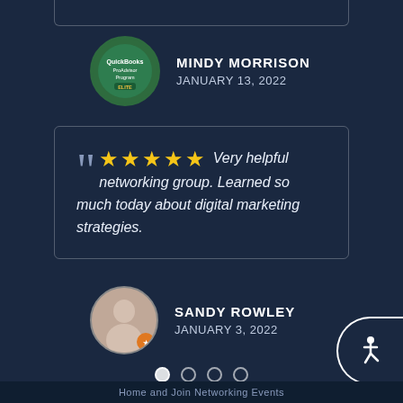MINDY MORRISON
JANUARY 13, 2022
Very helpful networking group. Learned so much today about digital marketing strategies.
SANDY ROWLEY
JANUARY 3, 2022